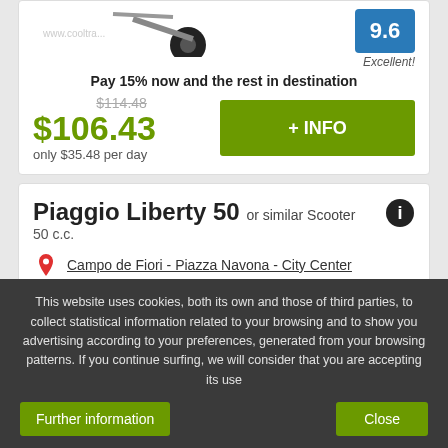Pay 15% now and the rest in destination
$114.48 (strikethrough original price)
$106.43 only $35.48 per day
9.6 Excellent!
+ INFO
Piaggio Liberty 50 or similar Scooter
50 c.c.
Campo de Fiori - Piazza Navona - City Center
Unlimited mileage
This website uses cookies, both its own and those of third parties, to collect statistical information related to your browsing and to show you advertising according to your preferences, generated from your browsing patterns. If you continue surfing, we will consider that you are accepting its use
Further information
Close